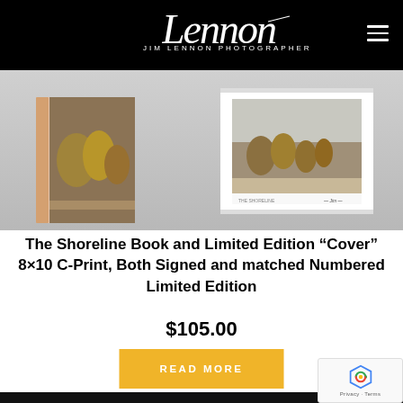Lennon JIM LENNON PHOTOGRAPHER
[Figure (photo): Product photo showing two copies of The Shoreline Book — one displayed as a closed hardcover spine view and one open showing a signed photograph of coastal grass/dunes on a light gray background.]
The Shoreline Book and Limited Edition “Cover” 8×10 C-Print, Both Signed and matched Numbered Limited Edition
$105.00
READ MORE